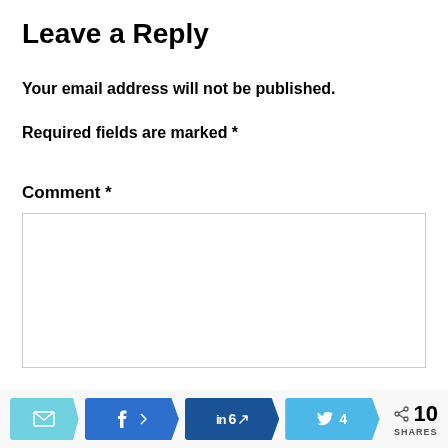Leave a Reply
Your email address will not be published.
Required fields are marked *
Comment *
[Figure (other): Comment text area input box, empty, with light gray border]
[Figure (infographic): Social share bar with email button, Facebook share button, LinkedIn share with count 6, Twitter share with count 4, and total 10 SHARES]